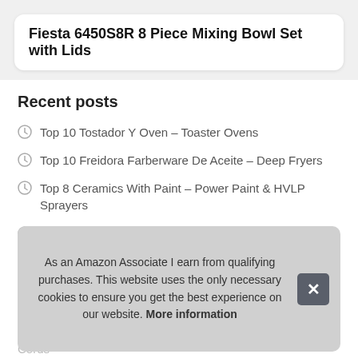Fiesta 6450S8R 8 Piece Mixing Bowl Set with Lids
Recent posts
Top 10 Tostador Y Oven – Toaster Ovens
Top 10 Freidora Farberware De Aceite – Deep Fryers
Top 8 Ceramics With Paint – Power Paint & HVLP Sprayers
Top 10 Dolce Le Leche – Espresso Machine & Coffeemaker Combos
T…
T… Bro…
T… Cords
As an Amazon Associate I earn from qualifying purchases. This website uses the only necessary cookies to ensure you get the best experience on our website. More information